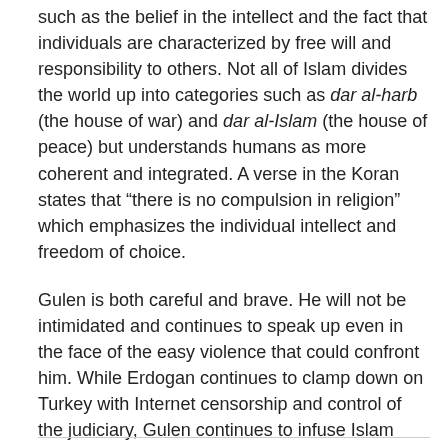such as the belief in the intellect and the fact that individuals are characterized by free will and responsibility to others. Not all of Islam divides the world up into categories such as dar al-harb (the house of war) and dar al-Islam (the house of peace) but understands humans as more coherent and integrated. A verse in the Koran states that “there is no compulsion in religion” which emphasizes the individual intellect and freedom of choice.
Gulen is both careful and brave. He will not be intimidated and continues to speak up even in the face of the easy violence that could confront him. While Erdogan continues to clamp down on Turkey with Internet censorship and control of the judiciary, Gulen continues to infuse Islam with the teachings of tolerance and democratic sensibility.